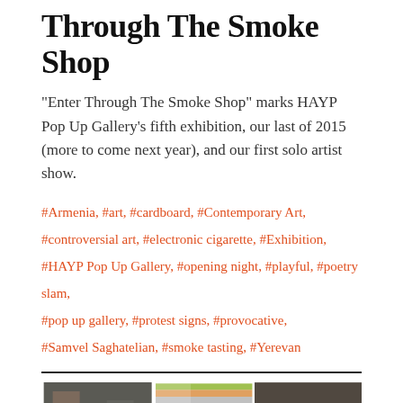Through The Smoke Shop
“Enter Through The Smoke Shop” marks HAYP Pop Up Gallery’s fifth exhibition, our last of 2015 (more to come next year), and our first solo artist show.
#Armenia, #art, #cardboard, #Contemporary Art, #controversial art, #electronic cigarette, #Exhibition, #HAYP Pop Up Gallery, #opening night, #playful, #poetry slam, #pop up gallery, #protest signs, #provocative, #Samvel Saghatelian, #smoke tasting, #Yerevan
[Figure (photo): Three side-by-side photos: left shows a person working indoors, middle shows colored pencils/chalks laid out, right shows people gathered indoors possibly at an event.]